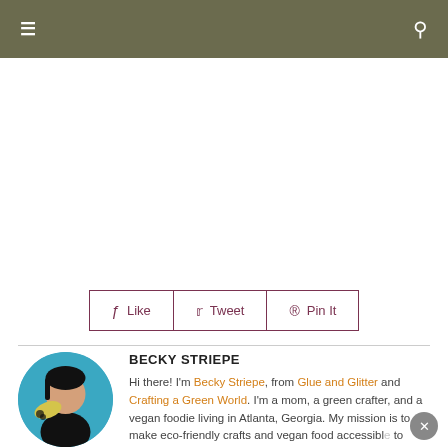Navigation bar with menu and search icons
[Figure (other): White blank content area (advertisement or image placeholder)]
Like   Tweet   Pin It
BECKY STRIEPE
Hi there! I'm Becky Striepe, from Glue and Glitter and Crafting a Green World. I'm a mom, a green crafter, and a vegan foodie living in Atlanta, Georgia. My mission is to make eco-friendly crafts and vegan food accessible to anyone who wants to give them a go. If you like my